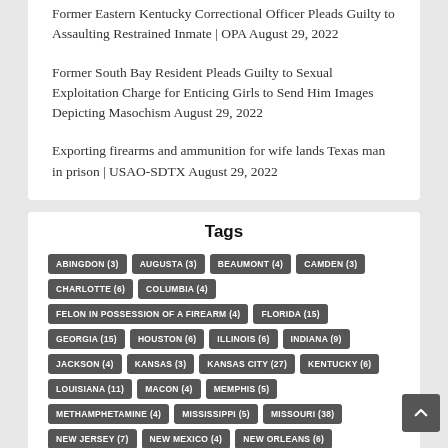Former Eastern Kentucky Correctional Officer Pleads Guilty to Assaulting Restrained Inmate | OPA August 29, 2022
Former South Bay Resident Pleads Guilty to Sexual Exploitation Charge for Enticing Girls to Send Him Images Depicting Masochism August 29, 2022
Exporting firearms and ammunition for wife lands Texas man in prison | USAO-SDTX August 29, 2022
Tags
ABINGDON (3) AUGUSTA (3) BEAUMONT (4) CAMDEN (3) CHARLOTTE (6) COLUMBIA (4) FELON IN POSSESSION OF A FIREARM (4) FLORIDA (15) GEORGIA (15) HOUSTON (6) ILLINOIS (6) INDIANA (9) JACKSON (4) KANSAS (3) KANSAS CITY (27) KENTUCKY (6) LOUISIANA (11) MACON (4) MEMPHIS (5) METHAMPHETAMINE (4) MISSISSIPPI (5) MISSOURI (38) NEW JERSEY (7) NEW MEXICO (4) NEW ORLEANS (6) NEW YORK (7) NORTH CAROLINA (11) OHIO (4) OPERATION LEGEND (10)